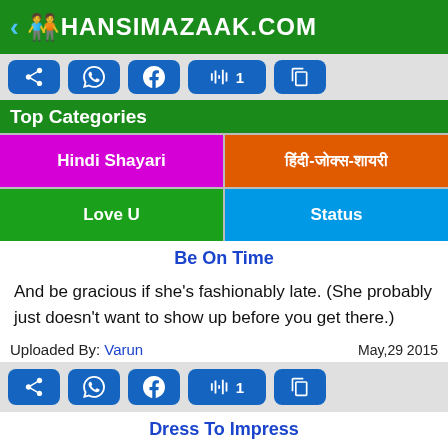HANSIMAZAAK.COM
[Figure (screenshot): Social share buttons bar: share, WhatsApp, Facebook, like (1), copy]
Top Categories
[Figure (infographic): Category buttons: Hindi Shayari (magenta), Hindi text (orange), Love U (green), Status (blue)]
Be On Time
And be gracious if she's fashionably late. (She probably just doesn't want to show up before you get there.)
Uploaded By: Varun    May,29 2015
[Figure (screenshot): Social share buttons bar: share, WhatsApp, Facebook, like (1), copy]
Dress To Impress